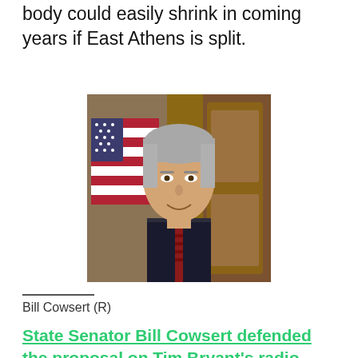body could easily shrink in coming years if East Athens is split.
[Figure (photo): Portrait photo of Bill Cowsert (R), a middle-aged man with gray hair wearing a dark suit and red tie, with an American flag in the background.]
Bill Cowsert (R)
State Senator Bill Cowsert defended the proposal on Tim Bryant's radio show last week, citing many of the points made in the statement discussed above. Cowsert added